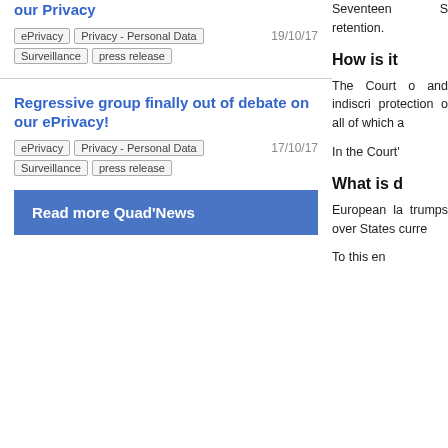our Privacy
ePrivacy  Privacy - Personal Data  Surveillance  press release  19/10/17
Regressive group finally out of debate on our ePrivacy!
ePrivacy  Privacy - Personal Data  Surveillance  press release  17/10/17
Read more Quad'News
Seventeen S retention.
How is it
The Court o and indiscri protection o all of which a
In the Court'
What is d
European la trumps over States curre
To this en